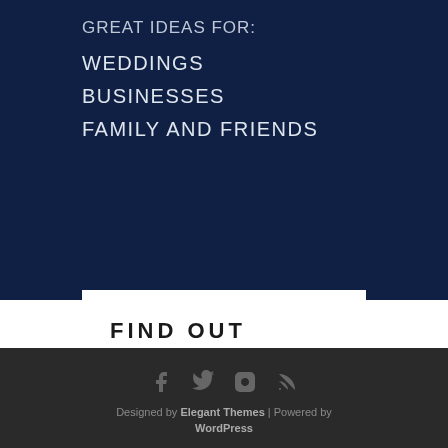GREAT IDEAS FOR:
WEDDINGS
BUSINESSES
FAMILY AND FRIENDS
FIND OUT MORE!
GET STARTED
Designed by Elegant Themes | Powered by WordPress